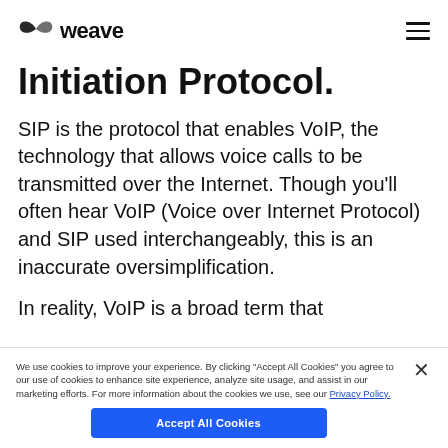weave
Initiation Protocol.
SIP is the protocol that enables VoIP, the technology that allows voice calls to be transmitted over the Internet. Though you’ll often hear VoIP (Voice over Internet Protocol) and SIP used interchangeably, this is an inaccurate oversimplification.
In reality, VoIP is a broad term that
We use cookies to improve your experience. By clicking “Accept All Cookies” you agree to our use of cookies to enhance site experience, analyze site usage, and assist in our marketing efforts. For more information about the cookies we use, see our Privacy Policy.
Accept All Cookies